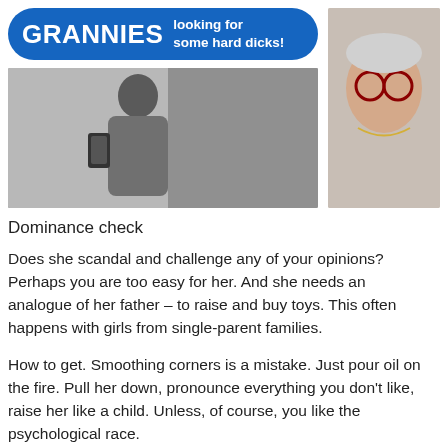[Figure (other): Blue rounded banner advertisement reading GRANNIES looking for some hard dicks!]
[Figure (photo): Main photo: person taking mirror selfie in grey outfit]
[Figure (photo): Side photo: close-up of woman with glasses]
Dominance check
Does she scandal and challenge any of your opinions? Perhaps you are too easy for her. And she needs an analogue of her father – to raise and buy toys. This often happens with girls from single-parent families.
How to get. Smoothing corners is a mistake. Just pour oil on the fire. Pull her down, pronounce everything you don't like, raise her like a child. Unless, of course, you like the psychological race.
Reliability check
Her parrot fell ill with caries, the bank demanded to pay